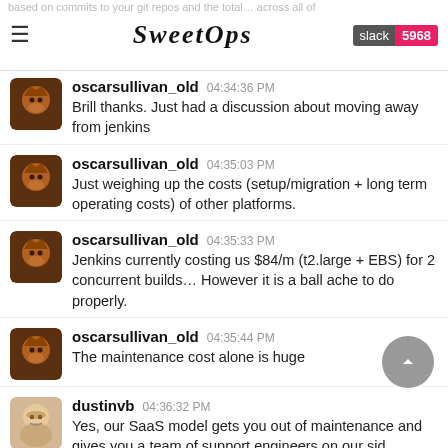SweetOps | slack 5968
based on commits to your git repos and the total across all of
oscarsullivan_old 04:34:36 PM
Brill thanks. Just had a discussion about moving away from jenkins
oscarsullivan_old 04:35:03 PM
Just weighing up the costs (setup/migration + long term operating costs) of other platforms.
oscarsullivan_old 04:35:33 PM
Jenkins currently costing us $84/m (t2.large + EBS) for 2 concurrent builds… However it is a ball ache to do properly.
oscarsullivan_old 04:35:44 PM
The maintenance cost alone is huge
dustinvb 04:36:32 PM
Yes, our SaaS model gets you out of maintenance and gives you a team of support engineers on our sid… assist you if you do run into anything.
dustinvb 04:37:20 PM
I encourage you to reach out to